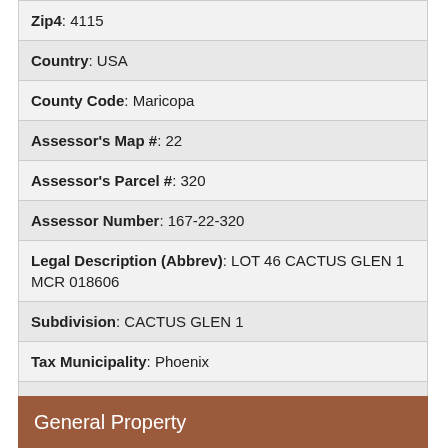| Zip4: 4115 |
| Country: USA |
| County Code: Maricopa |
| Assessor's Map #: 22 |
| Assessor's Parcel #: 320 |
| Assessor Number: 167-22-320 |
| Legal Description (Abbrev): LOT 46 CACTUS GLEN 1 MCR 018606 |
| Subdivision: CACTUS GLEN 1 |
| Tax Municipality: Phoenix |
| Taxes: 3547 |
| Tax Year: 2021 |
General Property